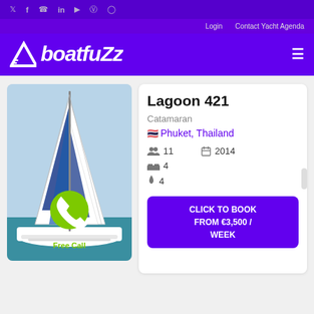Social icons: Twitter, Facebook, WhatsApp, LinkedIn, YouTube, Pinterest, Instagram
Login  Contact Yacht Agenda
boatfuZz
[Figure (photo): Catamaran sailing boat with white and blue sails, green phone call button overlay, 'Free Call' label]
Lagoon 421
Catamaran
Phuket, Thailand
Guests: 11
Year: 2014
Cabins: 4
Bathrooms: 4
CLICK TO BOOK FROM €3,500 / WEEK